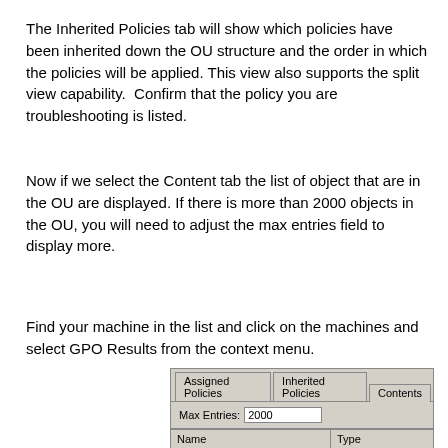The Inherited Policies tab will show which policies have been inherited down the OU structure and the order in which the policies will be applied. This view also supports the split view capability.  Confirm that the policy you are troubleshooting is listed.
Now if we select the Content tab the list of object that are in the OU are displayed. If there is more than 2000 objects in the OU, you will need to adjust the max entries field to display more.
Find your machine in the list and click on the machines and select GPO Results from the context menu.
[Figure (screenshot): A Windows UI panel showing tabs: Assigned Policies, Inherited Policies, Contents (active). Below the tabs is a Max Entries field with value 2000. Below that is a table header with columns Name and Type.]